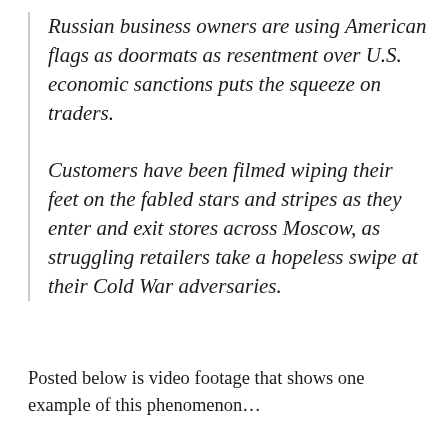Russian business owners are using American flags as doormats as resentment over U.S. economic sanctions puts the squeeze on traders.
Customers have been filmed wiping their feet on the fabled stars and stripes as they enter and exit stores across Moscow, as struggling retailers take a hopeless swipe at their Cold War adversaries.
Posted below is video footage that shows one example of this phenomenon…